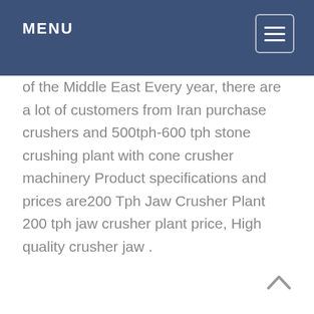MENU
of the Middle East Every year, there are a lot of customers from Iran purchase crushers and 500tph-600 tph stone crushing plant with cone crusher machinery Product specifications and prices are200 Tph Jaw Crusher Plant 200 tph jaw crusher plant price, High quality crusher jaw .